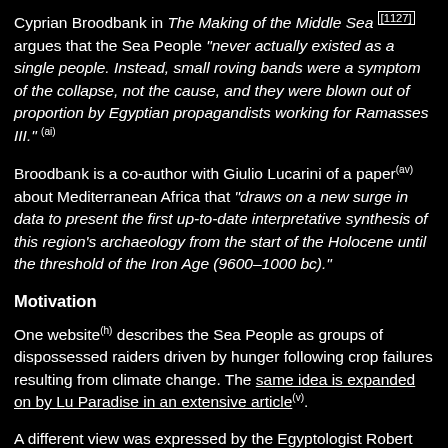Cyprian Broodbank in The Making of the Middle Sea [1127] argues that the Sea People "never actually existed as a single people. Instead, small roving bands were a symptom of the collapse, not the cause, and they were blown out of proportion by Egyptian propagandists working for Ramasses III." (ai)
Broodbank is a co-author with Giulio Lucarini of a paper(av) about Mediterranean Africa that "draws on a new surge in data to present the first up-to-date interpretative synthesis of this region's archaeology from the start of the Holocene until the threshold of the Iron Age (9600–1000 bc)."
Motivation
One website(h) describes the Sea People as groups of dispossessed raiders driven by hunger following crop failures resulting from climate change. The same idea is expanded on by Lu Paradise in an extensive article(v).
A different view was expressed by the Egyptologist Robert Anderson who commented "It would seem that, rather than bands of plunderers, the Sea People were probably part of